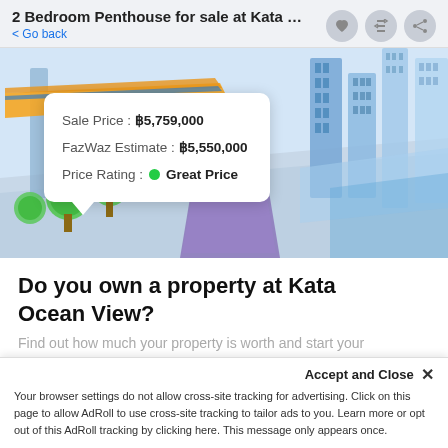2 Bedroom Penthouse for sale at Kata O...
< Go back
[Figure (illustration): Isometric city illustration with buildings, road, trees, and a price popup showing Sale Price: ฿5,759,000, FazWaz Estimate: ฿5,550,000, Price Rating: Great Price]
Do you own a property at Kata Ocean View?
Find out how much your property is worth and start your
Accept and Close ✕
Your browser settings do not allow cross-site tracking for advertising. Click on this page to allow AdRoll to use cross-site tracking to tailor ads to you. Learn more or opt out of this AdRoll tracking by clicking here. This message only appears once.